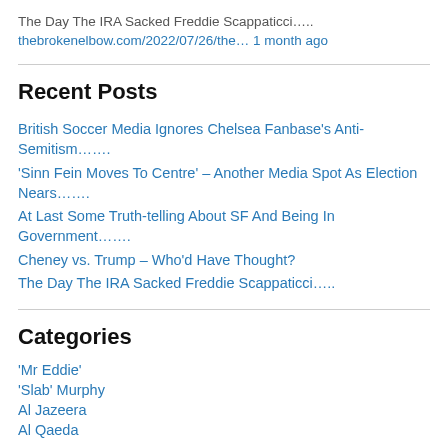The Day The IRA Sacked Freddie Scappaticci…..
thebrokenelbow.com/2022/07/26/the… 1 month ago
Recent Posts
British Soccer Media Ignores Chelsea Fanbase's Anti-Semitism…….
'Sinn Fein Moves To Centre' – Another Media Spot As Election Nears…….
At Last Some Truth-telling About SF And Being In Government…….
Cheney vs. Trump – Who'd Have Thought?
The Day The IRA Sacked Freddie Scappaticci…..
Categories
'Mr Eddie'
'Slab' Murphy
Al Jazeera
Al Qaeda